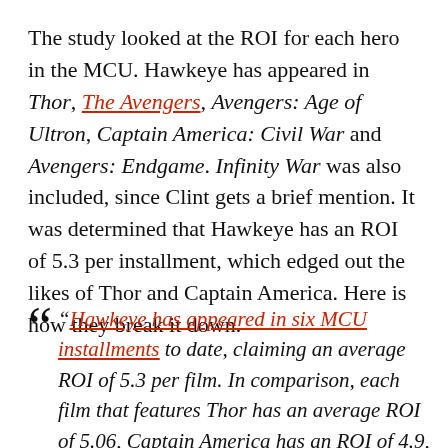The study looked at the ROI for each hero in the MCU. Hawkeye has appeared in Thor, The Avengers, Avengers: Age of Ultron, Captain America: Civil War and Avengers: Endgame. Infinity War was also included, since Clint gets a brief mention. It was determined that Hawkeye has an ROI of 5.3 per installment, which edged out the likes of Thor and Captain America. Here is how they break it down.
“Hawkeye has appeared in six MCU installments to date, claiming an average ROI of 5.3 per film. In comparison, each film that features Thor has an average ROI of 5.06, Captain America has an ROI of 4.9, and Iron Man has an average ROI of 4.8...”